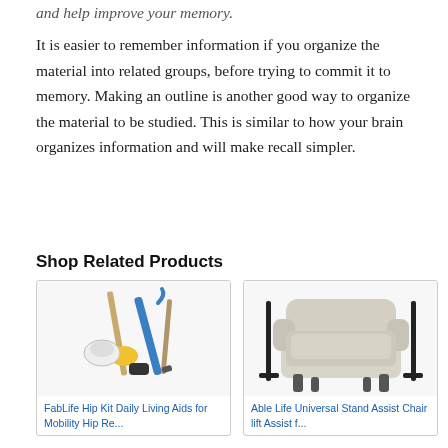and help improve your memory.
It is easier to remember information if you organize the material into related groups, before trying to commit it to memory. Making an outline is another good way to organize the material to be studied. This is similar to how your brain organizes information and will make recall simpler.
Shop Related Products
[Figure (photo): Photo of FabLife Hip Kit Daily Living Aids - a set of adaptive tools including a reacher, sock aid, dressing stick, long-handled sponge, and other items]
FabLife Hip Kit Daily Living Aids for Mobility Hip Re...
[Figure (photo): Photo of Able Life Universal Stand Assist - a beige upholstered armchair with black metal assist rails on each side]
Able Life Universal Stand Assist Chair lift Assist f...